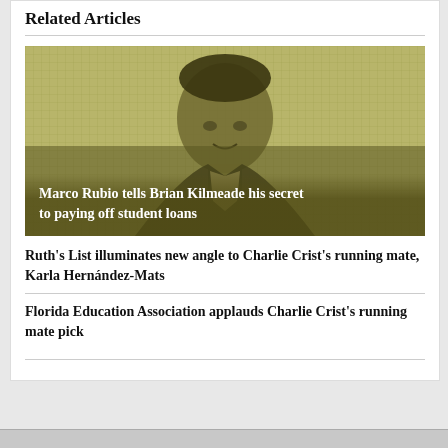Related Articles
[Figure (photo): Portrait photo of Marco Rubio with olive/sepia tint and grid-pattern overlay, with white bold text overlay reading: Marco Rubio tells Brian Kilmeade his secret to paying off student loans]
Ruth's List illuminates new angle to Charlie Crist's running mate, Karla Hernández-Mats
Florida Education Association applauds Charlie Crist's running mate pick